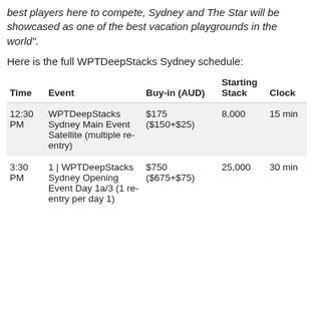best players here to compete, Sydney and The Star will be showcased as one of the best vacation playgrounds in the world".
Here is the full WPTDeepStacks Sydney schedule:
| Time | Event | Buy-in (AUD) | Starting Stack | Clock |
| --- | --- | --- | --- | --- |
| 12:30 PM | WPTDeepStacks Sydney Main Event Satellite (multiple re-entry) | $175 ($150+$25) | 8,000 | 15 min |
| 3:30 PM | 1 | WPTDeepStacks Sydney Opening Event Day 1a/3 (1 re-entry per day 1) | $750 ($675+$75) | 25,000 | 30 min |